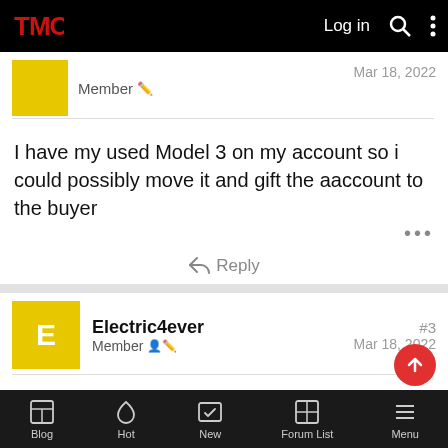TMC | Log in | Search | Menu
Member
Mar 18, 2022
I have my used Model 3 on my account so i could possibly move it and gift the aaccount to the buyer
Reply
Electric4ever
Member
#3
Mar 18, 2022
Buyer might have to come with me to the due date, since transfers of tesla reservations are being canceled...
Blog | Hot | New | Forum List | Menu